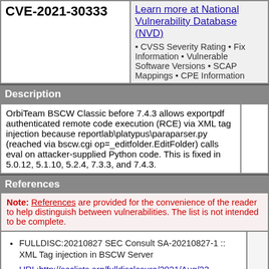| CVE ID | NVD Info |
| --- | --- |
| CVE-2021-30333 (partial, top cut off) | Learn more at National Vulnerability Database (NVD)
• CVSS Severity Rating • Fix Information • Vulnerable Software Versions • SCAP Mappings • CPE Information |
Description
OrbiTeam BSCW Classic before 7.4.3 allows exportpdf authenticated remote code execution (RCE) via XML tag injection because reportlab\platypus\paraparser.py (reached via bscw.cgi op=_editfolder.EditFolder) calls eval on attacker-supplied Python code. This is fixed in 5.0.12, 5.1.10, 5.2.4, 7.3.3, and 7.4.3.
References
Note: References are provided for the convenience of the reader to help distinguish between vulnerabilities. The list is not intended to be complete.
FULLDISC:20210827 SEC Consult SA-20210827-1 :: XML Tag injection in BSCW Server
URL:http://seclists.org/fulldisclosure/2021/Aug/23
MISC:http://packetstormsecurity.com/files/163988/BSCW-Server-XML-Injection.html
MISC:https://www.bscw.de/en/company/